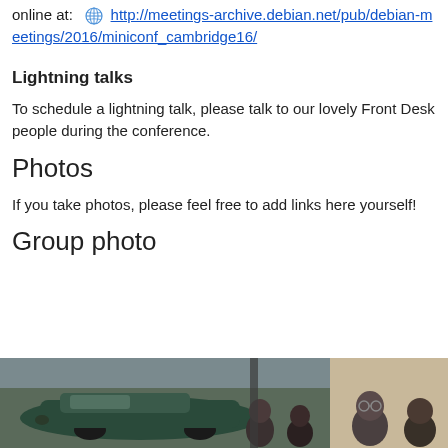online at: http://meetings-archive.debian.net/pub/debian-meetings/2016/miniconf_cambridge16/
Lightning talks
To schedule a lightning talk, please talk to our lovely Front Desk people during the conference.
Photos
If you take photos, please feel free to add links here yourself!
Group photo
[Figure (photo): Group photo showing people standing outside near a car and building, partially cropped at bottom of page.]